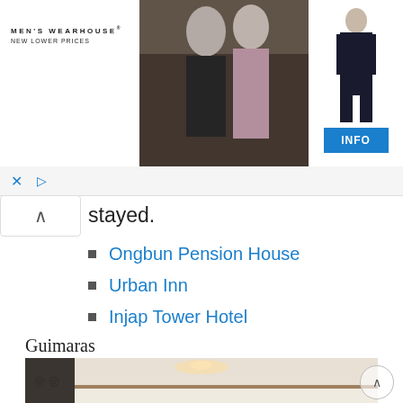[Figure (photo): Men's Wearhouse advertisement banner showing a couple dressed formally (man in dark suit, woman in formal dress) with a man in a suit on the right side and an INFO button]
stayed.
Ongbun Pension House
Urban Inn
Injap Tower Hotel
Guimaras
[Figure (photo): Interior room photo showing ceiling with lighting, wall sconces, air conditioning unit on left wall]